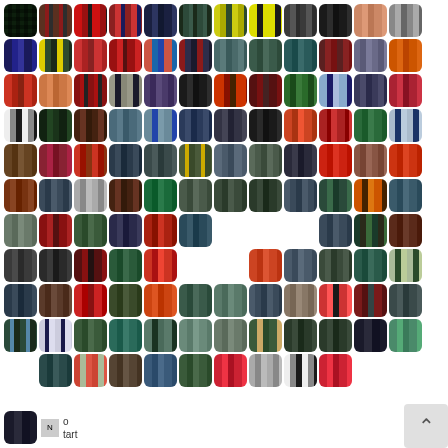[Figure (illustration): Grid of tartan/plaid fabric pattern swatches, approximately 118 small square thumbnail images arranged in rows with rounded corners, showing various traditional Scottish tartan patterns in colors including red, green, navy, yellow, orange, grey, and black.]
[Figure (illustration): Single dark tartan swatch in bottom left of last row]
No tart
[Figure (other): Scroll to top button with up arrow caret symbol in bottom right corner]